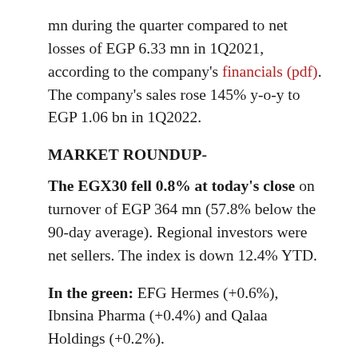mn during the quarter compared to net losses of EGP 6.33 mn in 1Q2021, according to the company's financials (pdf). The company's sales rose 145% y-o-y to EGP 1.06 bn in 1Q2022.
MARKET ROUNDUP-
The EGX30 fell 0.8% at today's close on turnover of EGP 364 mn (57.8% below the 90-day average). Regional investors were net sellers. The index is down 12.4% YTD.
In the green: EFG Hermes (+0.6%), Ibnsina Pharma (+0.4%) and Qalaa Holdings (+0.2%).
In the red: Orascom Construction (-4.0%), Cleopatra Hospitals (-3.3%) and Abu Qir